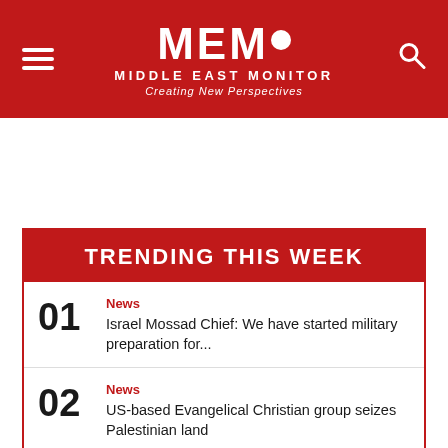MEMO MIDDLE EAST MONITOR Creating New Perspectives
TRENDING THIS WEEK
News
Israel Mossad Chief: We have started military preparation for...
News
US-based Evangelical Christian group seizes Palestinian land
News
Anger as Spanish tourist enters Al-Aqsa in 'immodest' clothing